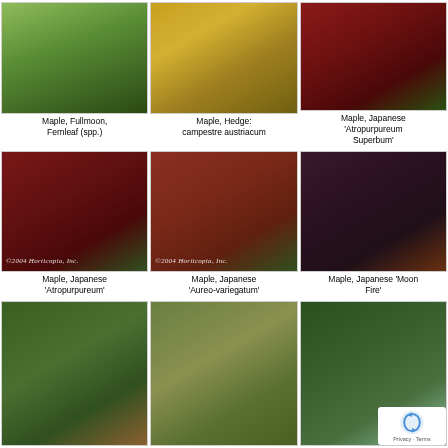[Figure (photo): Maple, Fullmoon, Fernleaf tree with green leaves]
Maple, Fullmoon, Fernleaf (spp.)
[Figure (photo): Maple, Hedge: campestre austriacum with golden-yellow foliage]
Maple, Hedge: campestre austriacum
[Figure (photo): Maple, Japanese 'Atropurpureum Superbum' with deep red foliage]
Maple, Japanese 'Atropurpureum Superbum'
[Figure (photo): Maple, Japanese 'Atropurpureum' with red foliage, Horticopia 2004 watermark]
Maple, Japanese 'Atropurpureum'
[Figure (photo): Maple, Japanese 'Aureo-variegatum' with reddish foliage, Horticopia 2004 watermark]
Maple, Japanese 'Aureo-variegatum'
[Figure (photo): Maple, Japanese 'Moon Fire' with very dark purple foliage]
Maple, Japanese 'Moon Fire'
[Figure (photo): Japanese maple with dense green foliage, bottom row left]
[Figure (photo): Japanese maple with weeping/cascading yellowish-green foliage, bottom row center]
[Figure (photo): Japanese maple tree with green foliage and blue sky, reCAPTCHA overlay bottom right]